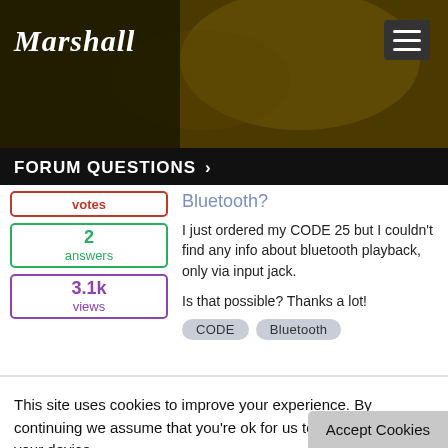[Figure (screenshot): Marshall amplifiers website header banner with dark sepia-toned photo of musician playing guitar]
Marshall
FORUM QUESTIONS >
votes
2 answers
3.1k views
Bluetooth?
I just ordered my CODE 25 but I couldn't find any info about bluetooth playback, only via input jack.
Is that possible? Thanks a lot!
CODE
Bluetooth
This site uses cookies to improve your experience. By continuing we assume that you're ok for us to store cookies on your device.
You can change your cookie settings at any time, or delete cookies, by going to your browser settings.
Accept Cookies